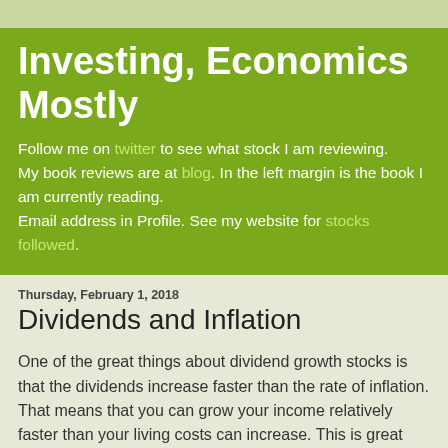Investing, Economics Mostly
Follow me on twitter to see what stock I am reviewing. My book reviews are at blog. In the left margin is the book I am currently reading.
Email address in Profile. See my website for stocks followed.
Thursday, February 1, 2018
Dividends and Inflation
One of the great things about dividend growth stocks is that the dividends increase faster than the rate of inflation. That means that you can grow your income relatively faster than your living costs can increase. This is great when building up an income for retirement. If you are retired like I am and living off your dividend income you can have more disposable income to spend the longer you hold dividend